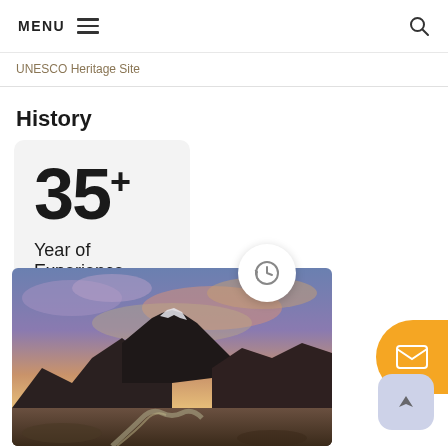MENU ☰  🔍
UNESCO Heritage Site
History
35+ Year of Experience
[Figure (photo): Mountain landscape with snow-capped peaks and dramatic purple-orange sunset sky, with a winding path/river in the foreground]
[Figure (other): Clock/history circular icon button]
[Figure (other): Orange envelope/mail floating action button]
[Figure (other): Light blue-grey navigation arrow button]